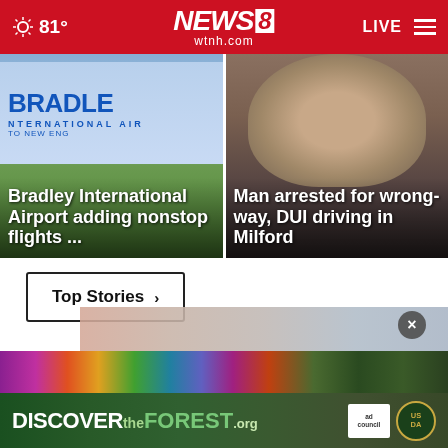NEWS 8 wtnh.com | 81° | LIVE
[Figure (photo): Bradley International Airport sign with trees in background]
Bradley International Airport adding nonstop flights ...
[Figure (photo): Headshot of man arrested for wrong-way DUI driving]
Man arrested for wrong-way, DUI driving in Milford
Top Stories ›
[Figure (photo): Close-up of hands / skin photo above advertisement]
[Figure (infographic): DISCOVERtheFOREST.org advertisement banner with Ad Council and USDA logos]